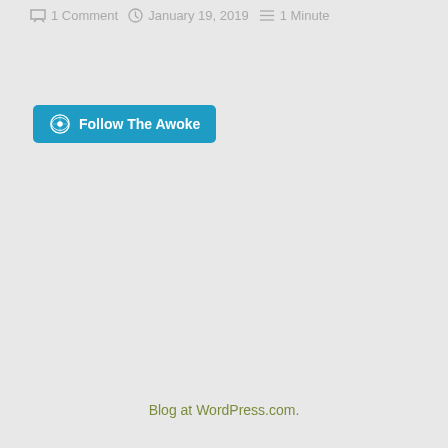1 Comment  January 19, 2019  1 Minute
[Figure (other): WordPress Follow The Awoke button — teal rounded rectangle with WordPress logo and bold white text]
Blog at WordPress.com.